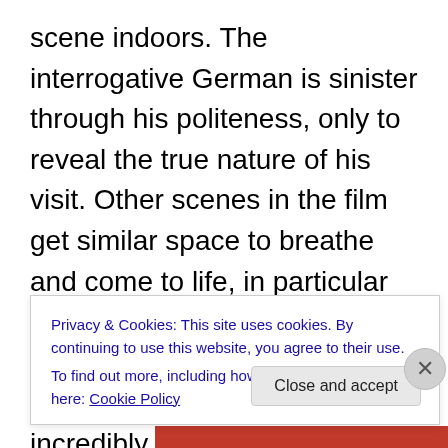scene indoors. The interrogative German is sinister through his politeness, only to reveal the true nature of his visit. Other scenes in the film get similar space to breathe and come to life, in particular another edge of the seat, tense encounter in a tavern. This is the film's longest scene and is incredibly realistic and satisfying as the spies, including the wonderful Michael Fassbender, attempt not to blow their cover. Language again plays an important role, and does so throughout, becoming almost another character. Often Inglorious Basterds feels more like a play, only for some explosive action to remind you
Privacy & Cookies: This site uses cookies. By continuing to use this website, you agree to their use.
To find out more, including how to control cookies, see here: Cookie Policy
Close and accept
Advertisements